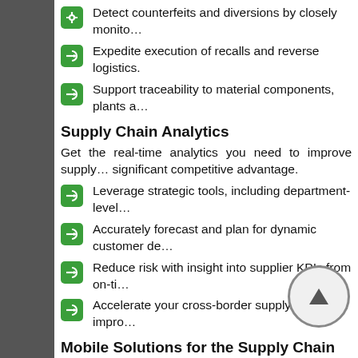Detect counterfeits and diversions by closely monito…
Expedite execution of recalls and reverse logistics.
Support traceability to material components, plants a…
Supply Chain Analytics
Get the real-time analytics you need to improve supply… significant competitive advantage.
Leverage strategic tools, including department-level…
Accurately forecast and plan for dynamic customer de…
Reduce risk with insight into supplier KPIs from on-ti…
Accelerate your cross-border supply chain and impro…
Mobile Solutions for the Supply Chain
Mobilize your key supply chain processes and information… agility and sharpen your competitive edge.
Accelerate the speed of business with smarter, facto…